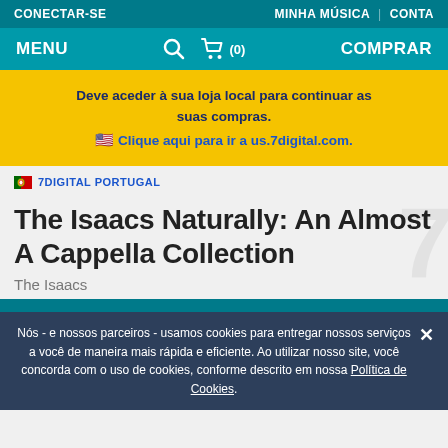CONECTAR-SE | MINHA MÚSICA | CONTA
MENU  (0)  COMPRAR
Deve aceder à sua loja local para continuar as suas compras. 🇺🇸 Clique aqui para ir a us.7digital.com.
🇵🇹 7DIGITAL PORTUGAL
The Isaacs Naturally: An Almost A Cappella Collection
The Isaacs
Nós - e nossos parceiros - usamos cookies para entregar nossos serviços a você de maneira mais rápida e eficiente. Ao utilizar nosso site, você concorda com o uso de cookies, conforme descrito em nossa Política de Cookies.